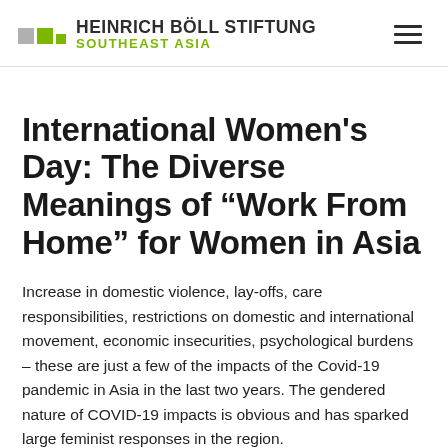HEINRICH BÖLL STIFTUNG SOUTHEAST ASIA
International Women's Day: The Diverse Meanings of “Work From Home” for Women in Asia
Increase in domestic violence, lay-offs, care responsibilities, restrictions on domestic and international movement, economic insecurities, psychological burdens – these are just a few of the impacts of the Covid-19 pandemic in Asia in the last two years. The gendered nature of COVID-19 impacts is obvious and has sparked large feminist responses in the region.
8 March 2022